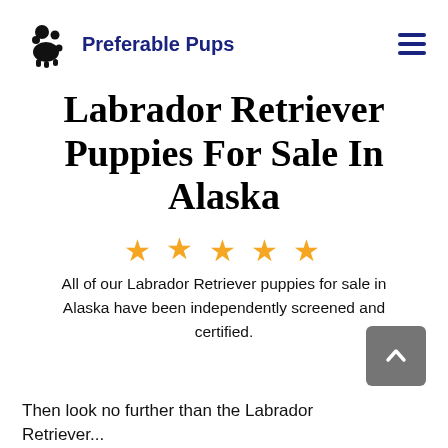Preferable Pups
Labrador Retriever Puppies For Sale In Alaska
[Figure (other): Five orange/gold star rating icons]
All of our Labrador Retriever puppies for sale in Alaska have been independently screened and certified.
Then look no further than the Labrador Retriever...